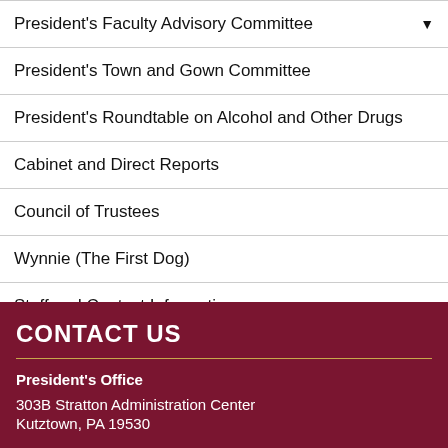President's Faculty Advisory Committee
President's Town and Gown Committee
President's Roundtable on Alcohol and Other Drugs
Cabinet and Direct Reports
Council of Trustees
Wynnie (The First Dog)
Staff and Contact Information
CONTACT US
President's Office
303B Stratton Administration Center
Kutztown, PA 19530